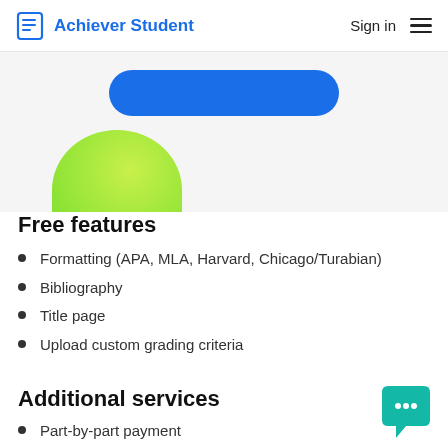Achiever Student  Sign in ☰
[Figure (illustration): Blue rounded rectangle button (partially visible) and a green gradient semicircle shape on a light grey background]
Free features
Formatting (APA, MLA, Harvard, Chicago/Turabian)
Bibliography
Title page
Upload custom grading criteria
Additional services
Part-by-part payment